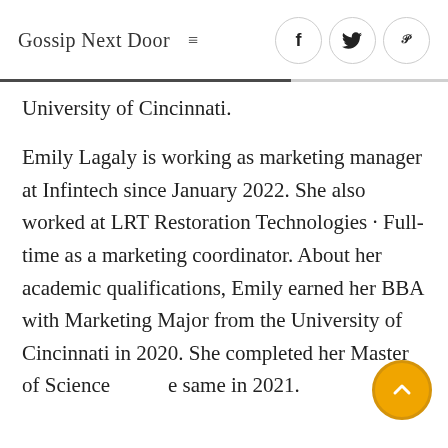Gossip Next Door
University of Cincinnati.
Emily Lagaly is working as marketing manager at Infintech since January 2022. She also worked at LRT Restoration Technologies · Full-time as a marketing coordinator. About her academic qualifications, Emily earned her BBA with Marketing Major from the University of Cincinnati in 2020. She completed her Master of Science the same in 2021.